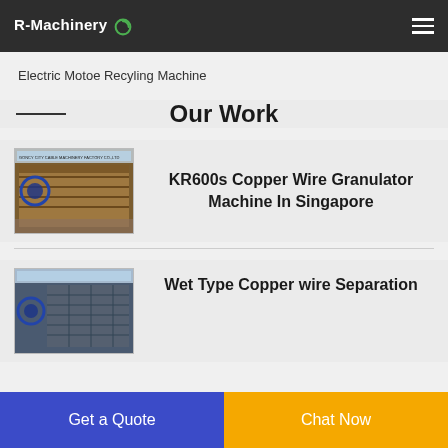R-Machinery
Electric Motoe Recyling Machine
Our Work
[Figure (photo): KR600s Copper Wire Granulator machine photo]
KR600s Copper Wire Granulator Machine In Singapore
[Figure (photo): Wet Type Copper wire Separation machine photo]
Wet Type Copper wire Separation
Get a Quote
Chat Now